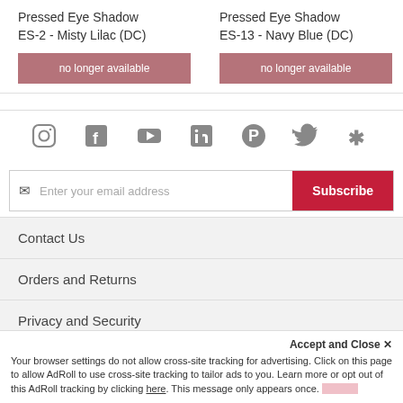Pressed Eye Shadow ES-2 - Misty Lilac (DC)
no longer available
Pressed Eye Shadow ES-13 - Navy Blue (DC)
no longer available
[Figure (infographic): Social media icons row: Instagram, Facebook, YouTube, LinkedIn, Pinterest, Twitter, Yelp]
Enter your email address  Subscribe
Contact Us
Orders and Returns
Privacy and Security
Accept and Close ✕
Your browser settings do not allow cross-site tracking for advertising. Click on this page to allow AdRoll to use cross-site tracking to tailor ads to you. Learn more or opt out of this AdRoll tracking by clicking here. This message only appears once.